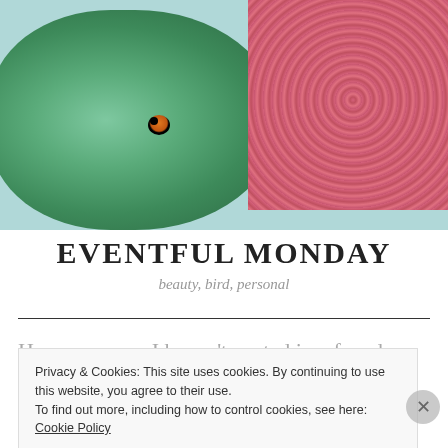[Figure (photo): Close-up photo of a green parrot/bird with an orange eye, next to a pink/red fluffy towel on a light blue/white surface.]
EVENTFUL MONDAY
beauty, bird, personal
Hey everyone, I haven't posted in a few days but hope you are all doing well. Yesterday morning was quite
Privacy & Cookies: This site uses cookies. By continuing to use this website, you agree to their use.
To find out more, including how to control cookies, see here: Cookie Policy
Close and accept